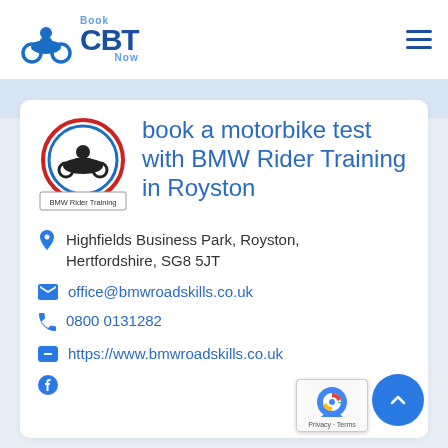Book CBT Now
book a motorbike test with BMW Rider Training in Royston
Highfields Business Park, Royston, Hertfordshire, SG8 5JT
office@bmwroadskills.co.uk
0800 0131282
https://www.bmwroadskills.co.uk